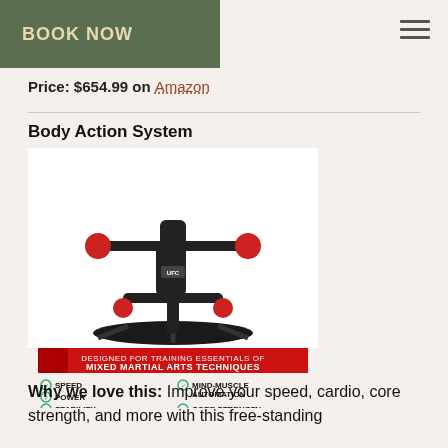BOOK NOW
Price: $654.99 on Amazon
Body Action System
[Figure (illustration): UFC Body Action System training dummy with red padded striking targets for hands, knees, and feet on a stand. Red banner reads: DESIGNED FOR TRAINING ESSENTIALS OF MIXED MARTIAL ARTS TECHNIQUES. Features listed: SPEED, POWER, STABILITY, LIGHTNING FAST REFLEXES, MIND-MUSCLE AUTOMATION, CORE STRENGTH, CARDIOVASCULAR ENDURANCE]
Why we love this: Improve your speed, cardio, core strength, and more with this free-standing